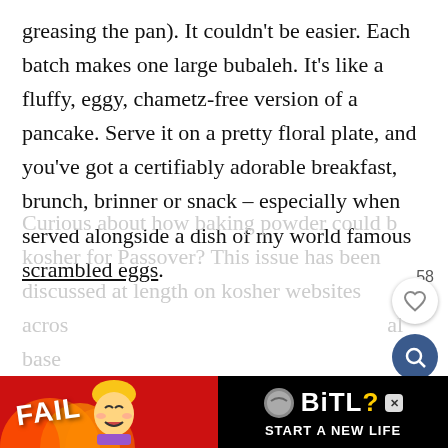greasing the pan). It couldn't be easier. Each batch makes one large bubaleh. It's like a fluffy, eggy, chametz-free version of a pancake. Serve it on a pretty floral plate, and you've got a certifiably adorable breakfast, brunch, brinner or snack – especially when served alongside a dish of my world famous scrambled eggs.
Curious about how baking powder could be kosher for Passover? This issue has been discussed at length on kosher websites across the web. Baking powder is in general base...
[Figure (screenshot): Advertisement banner for BitLife game at the bottom of the page, with FAIL text, cartoon character, flames, and START A NEW LIFE tagline]